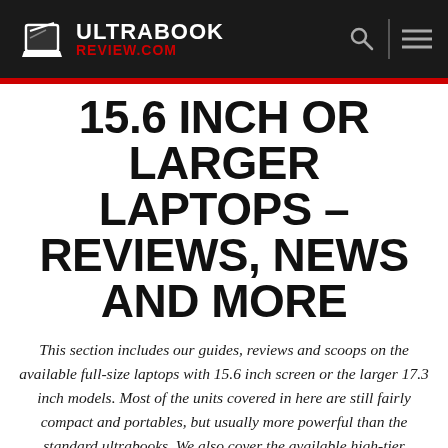ULTRABOOK REVIEW.COM
15.6 INCH OR LARGER LAPTOPS - REVIEWS, NEWS AND MORE
This section includes our guides, reviews and scoops on the available full-size laptops with 15.6 inch screen or the larger 17.3 inch models. Most of the units covered in here are still fairly compact and portables, but usually more powerful than the standard ultrabooks. We also cover the available high-tier multimedia notebooks, the available full-size laptops with convertible screens and definitely not least, a large selection of gaming notebooks with